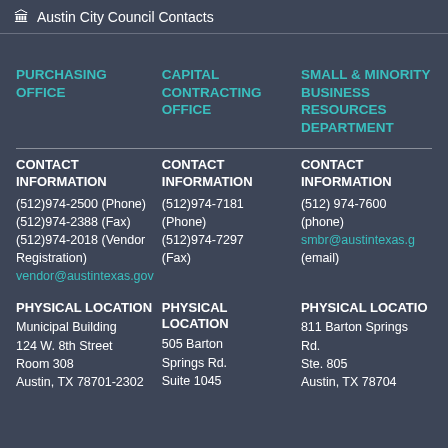Austin City Council Contacts
PURCHASING OFFICE
CAPITAL CONTRACTING OFFICE
SMALL & MINORITY BUSINESS RESOURCES DEPARTMENT
CONTACT INFORMATION
(512)974-2500 (Phone)
(512)974-2388 (Fax)
(512)974-2018 (Vendor Registration)
vendor@austintexas.gov
CONTACT INFORMATION
(512)974-7181 (Phone)
(512)974-7297 (Fax)
CONTACT INFORMATION
(512) 974-7600 (phone)
smbr@austintexas.g (email)
PHYSICAL LOCATION
Municipal Building
124 W. 8th Street
Room 308
Austin, TX 78701-2302
PHYSICAL LOCATION
505 Barton Springs Rd.
Suite 1045
PHYSICAL LOCATION
811 Barton Springs Rd.
Ste. 805
Austin, TX 78704